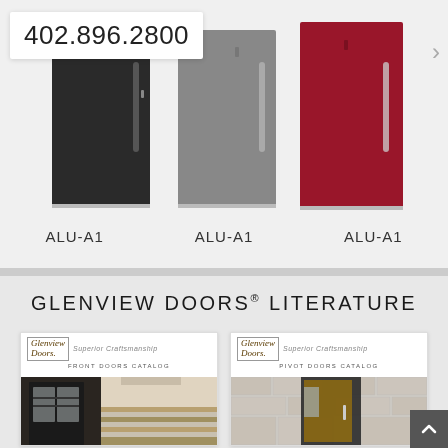402.896.2800
[Figure (photo): Three modern aluminum entry doors side by side: black (ALU-A1), gray (ALU-A1), and red (ALU-A1), each with a vertical bar handle]
ALU-A1   ALU-A1   ALU-A1
GLENVIEW DOORS® LITERATURE
[Figure (photo): Glenview Doors Front Doors Catalog cover showing logo, Superior Craftsmanship text, FRONT DOORS CATALOG label, and a photo of a modern interior entryway with glass panel door and staircase]
[Figure (photo): Glenview Doors Pivot Doors Catalog cover showing logo, Superior Craftsmanship text, PIVOT DOORS CATALOG label, and a photo of a pivot door set in a stone wall exterior]